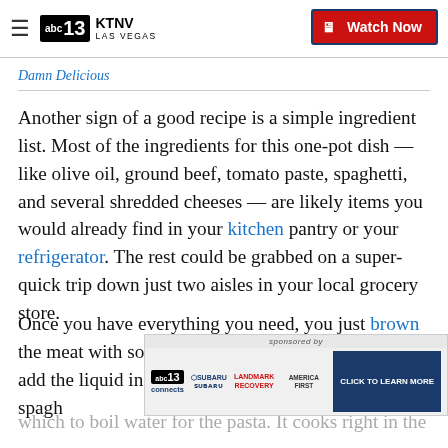KTNV LAS VEGAS — Watch Now
Damn Delicious
Another sign of a good recipe is a simple ingredient list. Most of the ingredients for this one-pot dish — like olive oil, ground beef, tomato paste, spaghetti, and several shredded cheeses — are likely items you would already find in your kitchen pantry or your refrigerator. The rest could be grabbed on a super-quick trip down just two aisles in your local grocery store.
Once you have everything you need, you just brown the meat with some taco seasoning, drain the fat off, add the liquid ingredients and place the uncooked spagh... in which to boil water for the pasta. It cooks right in the
[Figure (screenshot): Advertisement banner: sponsored by 13 connects, Subaru, Landmark Recovery, America First — with a CLICK TO LEARN MORE button]